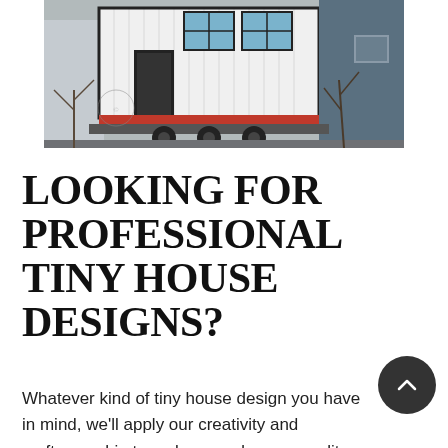[Figure (photo): A tiny house on wheels/trailer, white with dark trim, windows visible, parked outdoors with bare winter trees in the background.]
LOOKING FOR PROFESSIONAL TINY HOUSE DESIGNS?
Whatever kind of tiny house design you have in mind, we'll apply our creativity and craftsmanship to make your dream a reality. We have